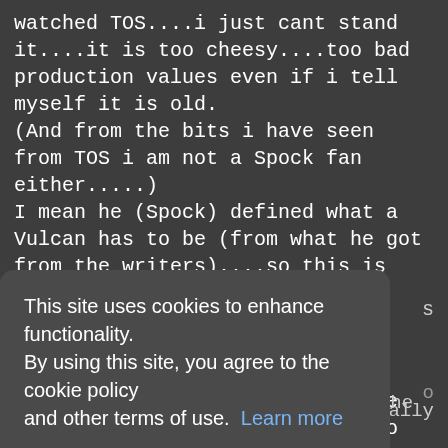watched TOS....i just cant stand it....it is too cheesy....too bad
production values even if i tell myself it is old.
(And from the bits i have seen from TOS i am not a Spock fan either.....)
I mean he (Spock) defined what a Vulcan has to be (from what he got from the writers)....so this is unfair from the start.

Everyone else had the chance to build of what he did.....but anyway...im born to late to love Spock sry....just can't get into TOS. I feel deeply ashamed. :)
This site uses cookies to enhance functionality. By using this site, you agree to the cookie policy and other terms of use.  Learn more
Agree
but really
Doc really confirms your theory, he definetly made main